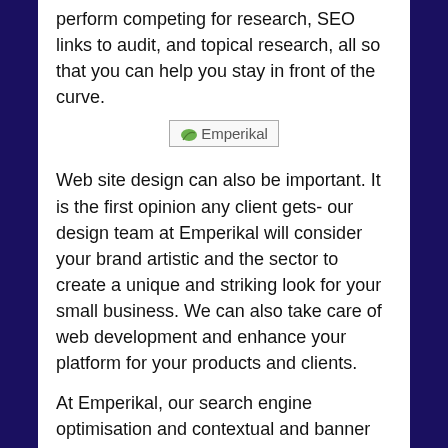perform competing for research, SEO links to audit, and topical research, all so that you can help you stay in front of the curve.
[Figure (logo): Emperikal logo with leaf icon and text 'Emperikal']
Web site design can also be important. It is the first opinion any client gets- our design team at Emperikal will consider your brand artistic and the sector to create a unique and striking look for your small business. We can also take care of web development and enhance your platform for your products and clients.
At Emperikal, our search engine optimisation and contextual and banner advertising may help your business reach the new target demographic and create long-term relationships with your consumers. Through premium quality marketing and strenuous target audience research, we could